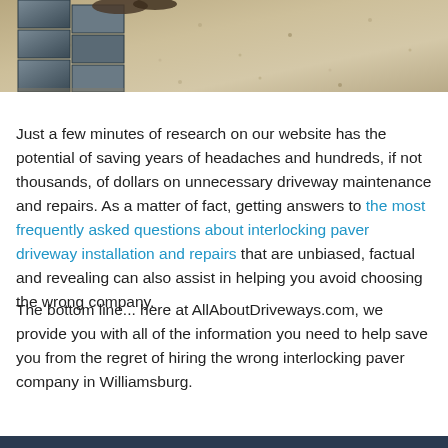[Figure (photo): Photo showing interlocking paver bricks being installed on a gravel base, with a person's feet visible at the top of the image.]
Just a few minutes of research on our website has the potential of saving years of headaches and hundreds, if not thousands, of dollars on unnecessary driveway maintenance and repairs. As a matter of fact, getting answers to the most frequently asked questions about interlocking paver driveway installation and repairs that are unbiased, factual and revealing can also assist in helping you avoid choosing the wrong company.
The bottom line... here at AllAboutDriveways.com, we provide you with all of the information you need to help save you from the regret of hiring the wrong interlocking paver company in Williamsburg.